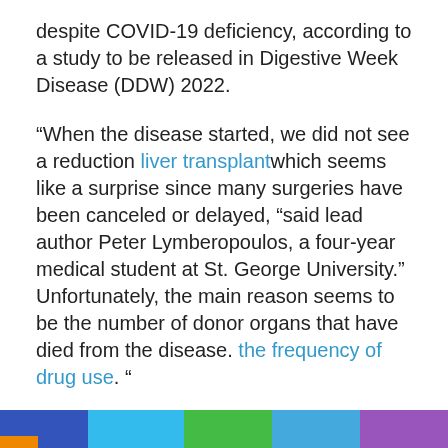despite COVID-19 deficiency, according to a study to be released in Digestive Week Disease (DDW) 2022.
“When the disease started, we did not see a reduction liver transplantwhich seems like a surprise since many surgeries have been canceled or delayed, “said lead author Peter Lymberopoulos, a four-year medical student at St. George University.” Unfortunately, the main reason seems to be the number of donor organs that have died from the disease. the frequency of drug use. “
Using the US Organ Sharing Contribution Registry, administered by the United Network for Organ Sharing, the research team examined the behavior of donors for any potential. transplant organs, including the liver, within 2 months of 14 months, both before and after the onset of the disease.